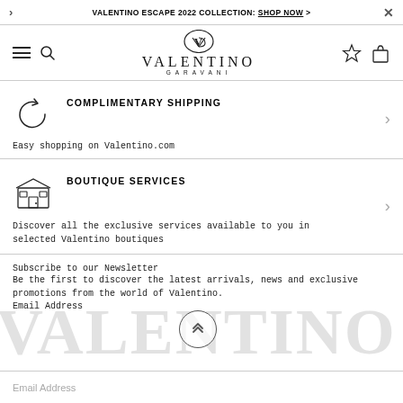VALENTINO ESCAPE 2022 COLLECTION: SHOP NOW >
[Figure (logo): Valentino Garavani logo with VG monogram icon]
COMPLIMENTARY SHIPPING
Easy shopping on Valentino.com
BOUTIQUE SERVICES
Discover all the exclusive services available to you in selected Valentino boutiques
Subscribe to our Newsletter
Be the first to discover the latest arrivals, news and exclusive promotions from the world of Valentino.
Email Address
[Figure (illustration): Large semi-transparent VALENTINO watermark text and scroll-to-top chevron circle button]
Email Address